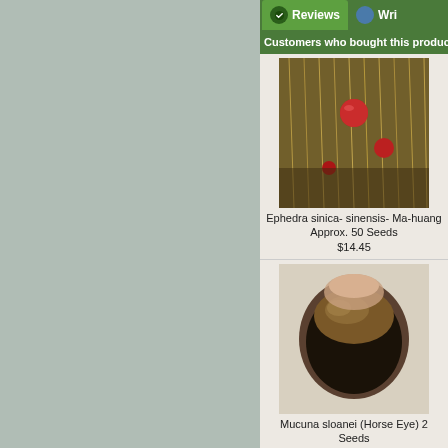[Figure (screenshot): Gray background area on left portion of the page, approximately 58% width]
Reviews   Wri...
Customers who bought this product
[Figure (photo): Photo of Ephedra sinica plant with red berries among thin stalks]
Ephedra sinica- sinensis- Ma-huang Approx. 50 Seeds
$14.45
[Figure (photo): Close-up photo of a large dark brown seed (Mucuna sloanei / Horse Eye)]
Mucuna sloanei (Horse Eye) 2 Seeds
$5.45
Ilex Ye
[Figure (photo): Photo of a bushy plant with white/cream colored flowers or foliage]